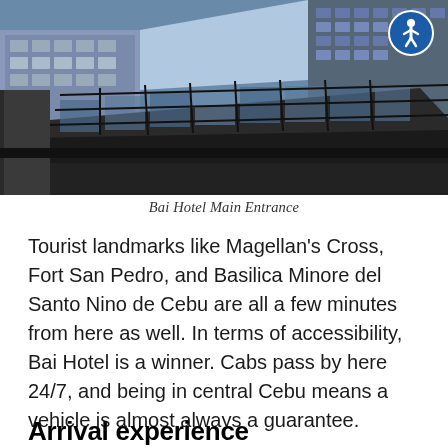[Figure (photo): Bai Hotel main entrance showing a modern glass and steel building canopy from a ground-up perspective, with an accessibility icon in the top right corner]
Bai Hotel Main Entrance
Tourist landmarks like Magellan’s Cross, Fort San Pedro, and Basilica Minore del Santo Nino de Cebu are all a few minutes from here as well. In terms of accessibility, Bai Hotel is a winner. Cabs pass by here 24/7, and being in central Cebu means a vehicle is almost always a guarantee.
Arrival experience